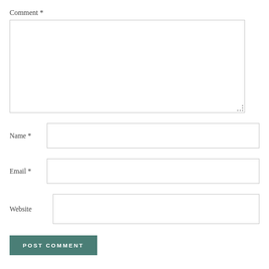Comment *
[Figure (other): Comment textarea form field, large empty white box with border and resize handle]
Name *
[Figure (other): Name text input field, single-line empty white box with border]
Email *
[Figure (other): Email text input field, single-line empty white box with border]
Website
[Figure (other): Website text input field, single-line empty white box with border]
POST COMMENT